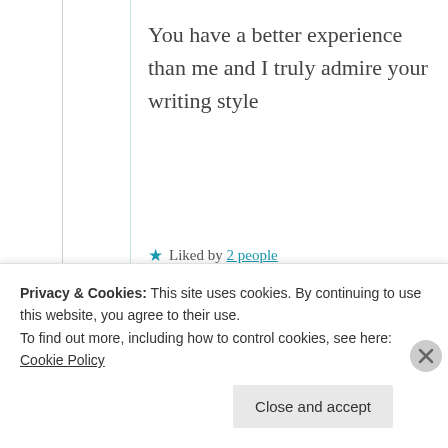You have a better experience than me and I truly admire your writing style
★ Liked by 2 people
Suma Reddy
5th Jul 2021 at 3:02
Privacy & Cookies: This site uses cookies. By continuing to use this website, you agree to their use. To find out more, including how to control cookies, see here: Cookie Policy
Close and accept